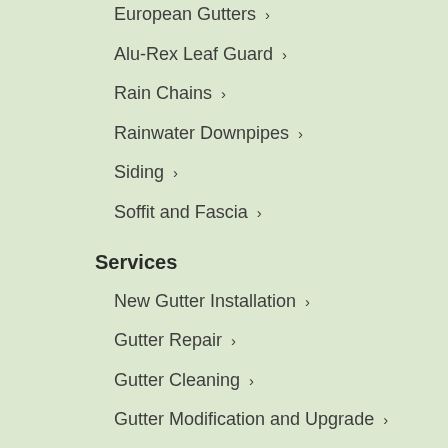European Gutters ›
Alu-Rex Leaf Guard ›
Rain Chains ›
Rainwater Downpipes ›
Siding ›
Soffit and Fascia ›
Services
New Gutter Installation ›
Gutter Repair ›
Gutter Cleaning ›
Gutter Modification and Upgrade ›
Leaf Guard Installation ›
Siding Installation ›
Soffit Installation ›